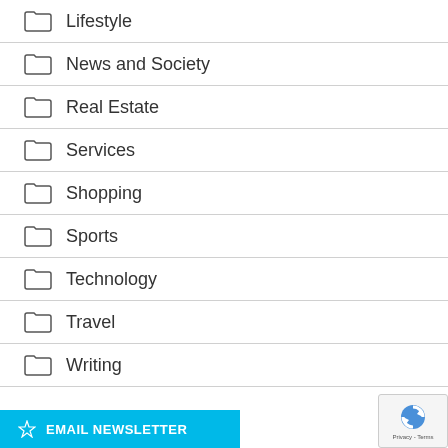Lifestyle
News and Society
Real Estate
Services
Shopping
Sports
Technology
Travel
Writing
EMAIL NEWSLETTER